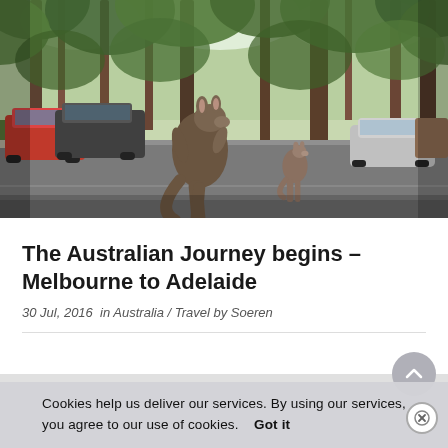[Figure (photo): A kangaroo crossing a suburban street lined with tall eucalyptus trees. Several parked cars are visible along the roadside, and another kangaroo is seen in the background. Bright daylight, green foliage overhead.]
The Australian Journey begins – Melbourne to Adelaide
30 Jul, 2016  in Australia / Travel by Soeren
Cookies help us deliver our services. By using our services, you agree to our use of cookies.    Got it